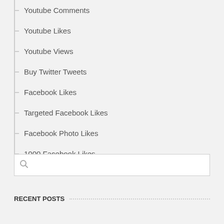Youtube Comments
Youtube Likes
Youtube Views
Buy Twitter Tweets
Facebook Likes
Targeted Facebook Likes
Facebook Photo Likes
1000 Facebook Likes
Search box
RECENT POSTS